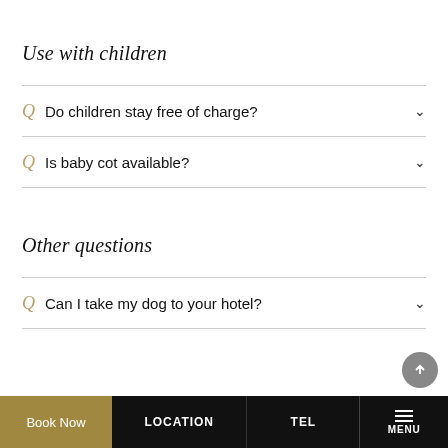Use with children
Q  Do children stay free of charge?
Q  Is baby cot available?
Other questions
Q  Can I take my dog to your hotel?
Book Now | LOCATION | TEL | MENU